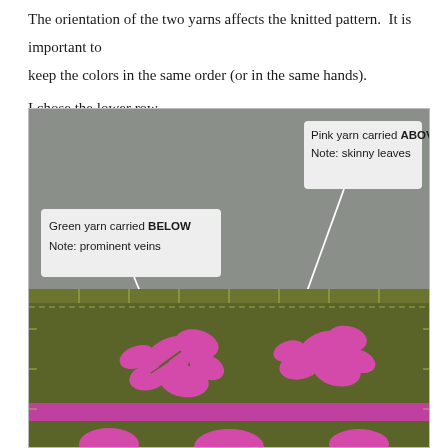The orientation of the two yarns affects the knitted pattern.  It is important to keep the colors in the same order (or in the same hands).
I chose the lower row.
[Figure (photo): Photograph of a knitted fabric swatch showing a two-color stranded pattern with pink flowers/leaves on an olive green background. Two annotated callout boxes with white arrows label: 'Green yarn carried BELOW / Note: prominent veins' (pointing to the green yarn area) and 'Pink yarn carried ABOVE / Note: skinny leaves' (pointing to the pink pattern area). The upper portion of the image has a gray background with the callout labels, and the lower portion shows the knitted fabric.]